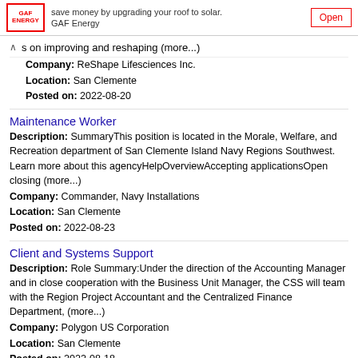[Figure (other): Ad banner for GAF Energy with logo, text about saving money by upgrading roof to solar, and an Open button]
s on improving and reshaping (more...)
Company: ReShape Lifesciences Inc.
Location: San Clemente
Posted on: 2022-08-20
Maintenance Worker
Description: SummaryThis position is located in the Morale, Welfare, and Recreation department of San Clemente Island Navy Regions Southwest. Learn more about this agencyHelpOverviewAccepting applicationsOpen closing (more...)
Company: Commander, Navy Installations
Location: San Clemente
Posted on: 2022-08-23
Client and Systems Support
Description: Role Summary:Under the direction of the Accounting Manager and in close cooperation with the Business Unit Manager, the CSS will team with the Region Project Accountant and the Centralized Finance Department, (more...)
Company: Polygon US Corporation
Location: San Clemente
Posted on: 2022-08-18
Chiropractor - San Clemente, CA